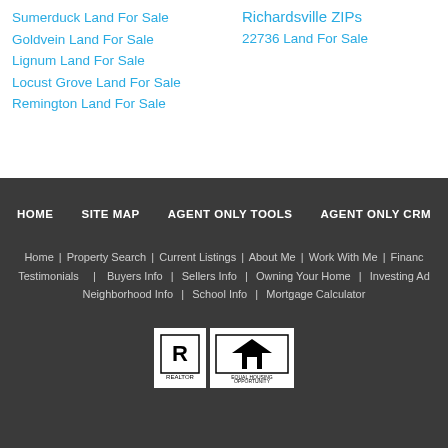Sumerduck Land For Sale
Goldvein Land For Sale
Lignum Land For Sale
Locust Grove Land For Sale
Remington Land For Sale
Richardsville ZIPs
22736 Land For Sale
HOME  SITE MAP  AGENT ONLY TOOLS  AGENT ONLY CRM
Home | Property Search | Current Listings | About Me | Work With Me | Financ... Testimonials | Buyers Info | Sellers Info | Owning Your Home | Investing Ad... Neighborhood Info | School Info | Mortgage Calculator